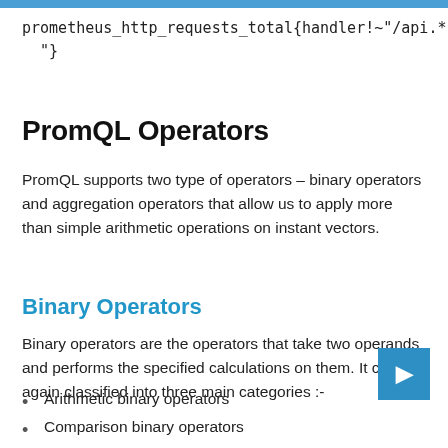prometheus_http_requests_total{handler!~"/api.*"}
PromQL Operators
PromQL supports two type of operators – binary operators and aggregation operators that allow us to apply more than simple arithmetic operations on instant vectors.
Binary Operators
Binary operators are the operators that take two operands and performs the specified calculations on them. It can be again classified into three main categories :-
Arithmetic binary operators
Comparison binary operators